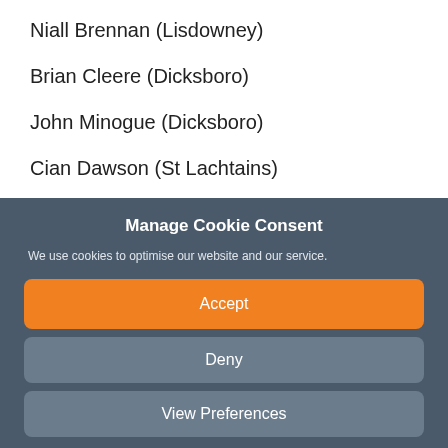Niall Brennan (Lisdowney)
Brian Cleere (Dicksboro)
John Minogue (Dicksboro)
Cian Dawson (St Lachtains)
Manage Cookie Consent
We use cookies to optimise our website and our service.
Accept
Deny
View Preferences